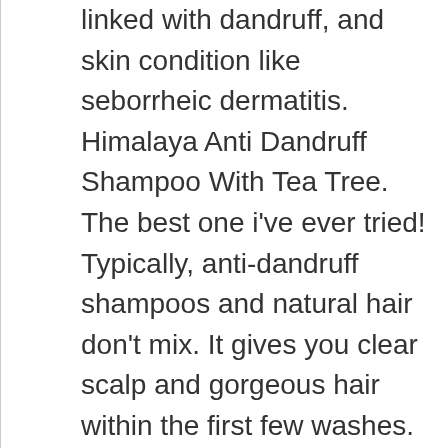linked with dandruff, and skin condition like seborrheic dermatitis. Himalaya Anti Dandruff Shampoo With Tea Tree. The best one i've ever tried! Typically, anti-dandruff shampoos and natural hair don't mix. It gives you clear scalp and gorgeous hair within the first few washes. Dandruff appears in excessive shedding of dead skin cells in large white or grayish clumps from the scalp. But remember quality matters a lot. Active ingredients containing shampoo that focuses on symptoms and fight several potential causes is the best treatment. Davines' "Purifying" line offers scalp-friendly benefits and helps balance the oil levels atop your head. This anti-dandruff shampoo is tear-free and moisturizes the child's scalp to alleviate itchiness and flakiness. Davines anti-dandruff shampoo. The best dandruff shampoos to cure dandruff and itchy, flaky scalps, including medicated and natural anti-dandruff